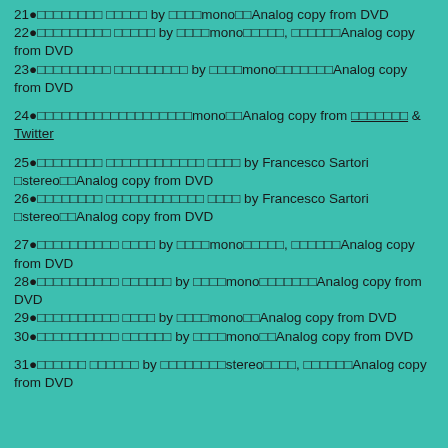21●□□□□□□□□ □□□□□ by □□□□mono□□Analog copy from DVD
22●□□□□□□□□□ □□□□□ by □□□□mono□□□□□, □□□□□□Analog copy from DVD
23●□□□□□□□□□ □□□□□□□□□ by □□□□mono□□□□□□□Analog copy from DVD
24●□□□□□□□□□□□□□□□□□□□mono□□Analog copy from □□□□□□□ & Twitter
25●□□□□□□□□ □□□□□□□□□□□□ □□□□ by Francesco Sartori □stereo□□Analog copy from DVD
26●□□□□□□□□ □□□□□□□□□□□□ □□□□ by Francesco Sartori □stereo□□Analog copy from DVD
27●□□□□□□□□□□ □□□□ by □□□□mono□□□□□, □□□□□□Analog copy from DVD
28●□□□□□□□□□□ □□□□□□ by □□□□mono□□□□□□□Analog copy from DVD
29●□□□□□□□□□□ □□□□ by □□□□mono□□Analog copy from DVD
30●□□□□□□□□□□ □□□□□□ by □□□□mono□□Analog copy from DVD
31●□□□□□□ □□□□□□ by □□□□□□□□stereo□□□□, □□□□□□Analog copy from DVD